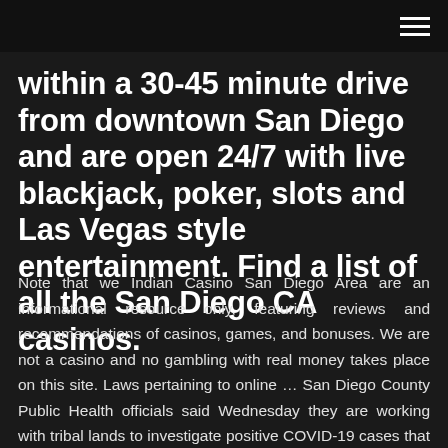☰
within a 30-45 minute drive from downtown San Diego and are open 24/7 with live blackjack, poker, slots and Las Vegas style entertainment. Find a list of all the San Diego CA casinos.
Note that we Indian Casino San Diego Area are an informational resource only, featuring reviews and recommendations of casinos, games, and bonuses. We are not a casino and no gambling with real money takes place on this site. Laws pertaining to online … San Diego County Public Health officials said Wednesday they are working with tribal lands to investigate positive COVID-19 cases that may be connected to several local casinos. 28/05/2020 28/08/2019 Indian Casino In San Diego Area, grosvenor